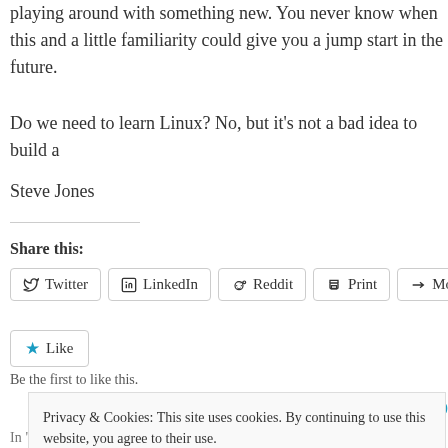playing around with something new. You never know when this and a little familiarity could give you a jump start in the future.
Do we need to learn Linux? No, but it’s not a bad idea to build a
Steve Jones
Share this:
[Figure (other): Social share buttons: Twitter, LinkedIn, Reddit, Print, More]
[Figure (other): Like button with star icon]
Be the first to like this.
Privacy & Cookies: This site uses cookies. By continuing to use this website, you agree to their use.
To find out more, including how to control cookies, see here: Our Cookie Policy
Close and accept
In "Editorial"
In "Blog"